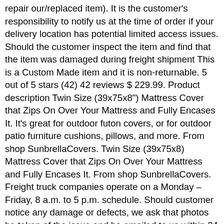repair our/replaced item). It is the customer's responsibility to notify us at the time of order if your delivery location has potential limited access issues. Should the customer inspect the item and find that the item was damaged during freight shipment This is a Custom Made item and it is non-returnable. 5 out of 5 stars (42) 42 reviews $ 229.99. Product description Twin Size (39x75x8") Mattress Cover that Zips On Over Your Mattress and Fully Encases It. It's great for outdoor futon covers, or for outdoor patio furniture cushions, pillows, and more. From shop SunbrellaCovers. Twin Size (39x75x8) Mattress Cover that Zips On Over Your Mattress and Fully Encases It. From shop SunbrellaCovers. Freight truck companies operate on a Monday – Friday, 8 a.m. to 5 p.m. schedule. Should customer notice any damage or defects, we ask that photos be taken of the issue and be emailed to us within 24 hours of delivery. Therefore, it is VERY IMPORTANT to inspect the item, refuse the delivery of any damaged item and/or sign for the item only once it has been deemed as not damaged in any way. The manufacturer will then have the issue remedied by repairing the item or hiring a...